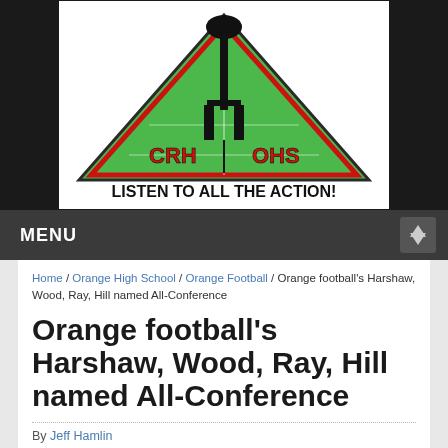[Figure (logo): CRH OHS sports radio logo with triangle/football field graphic and microphone silhouette, text reads LISTEN TO ALL THE ACTION!]
MENU
Home / Orange High School / Orange Football / Orange football's Harshaw, Wood, Ray, Hill named All-Conference
Orange football's Harshaw, Wood, Ray, Hill named All-Conference
By Jeff Hamlin